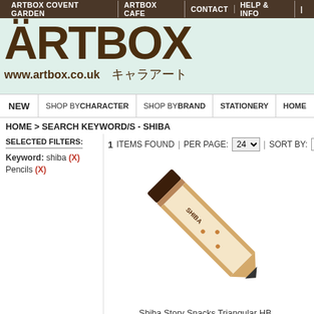ARTBOX COVENT GARDEN | ARTBOX CAFE | CONTACT | HELP & INFO
[Figure (logo): ARTBOX logo with heart in O, www.artbox.co.uk and Japanese text キャラアート on mint green background]
NEW | SHOP BY CHARACTER | SHOP BY BRAND | STATIONERY | HOME
HOME > SEARCH KEYWORD/S - SHIBA
SELECTED FILTERS:
Keyword: shiba (X)
Pencils (X)
1 ITEMS FOUND | PER PAGE: 24 | SORT BY: Date
[Figure (photo): A diagonal pencil with Shiba Inu design, dark brown eraser tip, white body with dog illustrations and 'SHIBA' text]
Shiba Story Snacks Triangular HB...